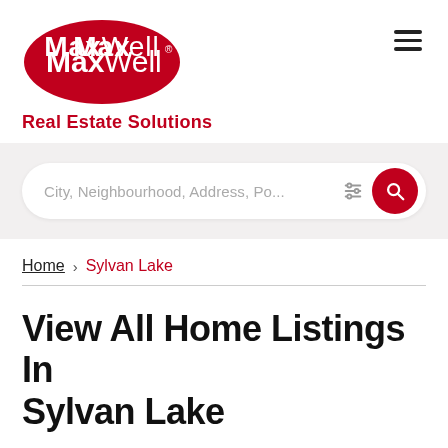[Figure (logo): MaxWell Real Estate Solutions logo — red oval with white Maxwell text and 'Real Estate Solutions' in red below]
City, Neighbourhood, Address, Po...
Home › Sylvan Lake
View All Home Listings In Sylvan Lake